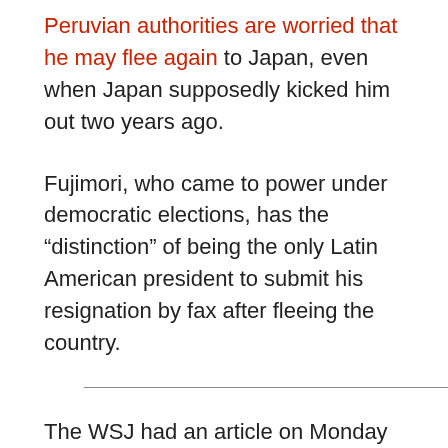Peruvian authorities are worried that he may flee again to Japan, even when Japan supposedly kicked him out two years ago.
Fujimori, who came to power under democratic elections, has the “distinction” of being the only Latin American president to submit his resignation by fax after fleeing the country.
The WSJ had an article on Monday on Ecuador’s current constitutional crisis, Sharp Left Turn in Ecuador (by subscription only), where president Rafael